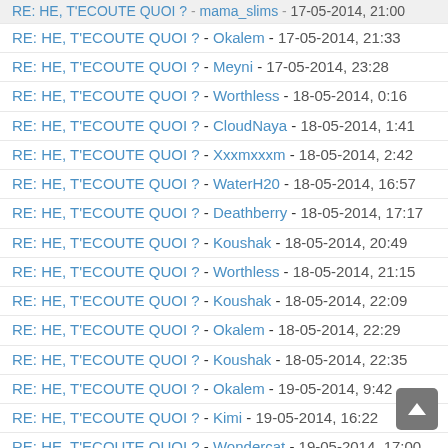RE: HE, T'ECOUTE QUOI ? - mama_slims - 17-05-2014, 21:00
RE: HE, T'ECOUTE QUOI ? - Okalem - 17-05-2014, 21:33
RE: HE, T'ECOUTE QUOI ? - Meyni - 17-05-2014, 23:28
RE: HE, T'ECOUTE QUOI ? - Worthless - 18-05-2014, 0:16
RE: HE, T'ECOUTE QUOI ? - CloudNaya - 18-05-2014, 1:41
RE: HE, T'ECOUTE QUOI ? - Xxxmxxxm - 18-05-2014, 2:42
RE: HE, T'ECOUTE QUOI ? - WaterH20 - 18-05-2014, 16:57
RE: HE, T'ECOUTE QUOI ? - Deathberry - 18-05-2014, 17:17
RE: HE, T'ECOUTE QUOI ? - Koushak - 18-05-2014, 20:49
RE: HE, T'ECOUTE QUOI ? - Worthless - 18-05-2014, 21:15
RE: HE, T'ECOUTE QUOI ? - Koushak - 18-05-2014, 22:09
RE: HE, T'ECOUTE QUOI ? - Okalem - 18-05-2014, 22:29
RE: HE, T'ECOUTE QUOI ? - Koushak - 18-05-2014, 22:35
RE: HE, T'ECOUTE QUOI ? - Okalem - 19-05-2014, 9:42
RE: HE, T'ECOUTE QUOI ? - Kimi - 19-05-2014, 16:22
RE: HE, T'ECOUTE QUOI ? - Wondercat - 19-05-2014, 17:00
RE: HE, T'ECOUTE QUOI ? - Xxxmxxxm - 20-05-2014, 2:11 (bold)
RE: HE, T'ECOUTE QUOI ? - MeraHeart - 20-05-2014, 3:11
RE: HE, T'ECOUTE QUOI ? - Garnia - 20-05-2014, 12:48
RE: HE, T'ECOUTE QUOI ? - 0asis - 20-05-2014, 14:35
RE: HE, T'ECOUTE QUOI ? - Cuteness - 20-05-2014, 18:06
RE: HE, T'ECOUTE QUOI ? - Garnia - 20-05-2014, 18:23
RE: HE, T'ECOUTE QUOI ? - Cuteness - 20-05-2014, 18:44